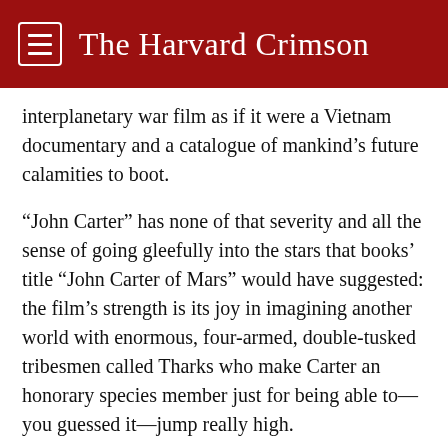The Harvard Crimson
interplanetary war film as if it were a Vietnam documentary and a catalogue of mankind’s future calamities to boot.
“John Carter” has none of that severity and all the sense of going gleefully into the stars that books’ title “John Carter of Mars” would have suggested: the film’s strength is its joy in imagining another world with enormous, four-armed, double-tusked tribesmen called Tharks who make Carter an honorary species member just for being able to—you guessed it—jump really high.
Director Stanton reveals a deft touch in crafting a spirited sense of adventure. Shots linger on vast Martian landscapes, creating a sense of space and scope; a swelling score akin to “Lawrence of Arabia” teaches the audience to take the thing seriously but, for God’s sake, have some fun with it; Carter’s love-interest and Martian princess Dejah